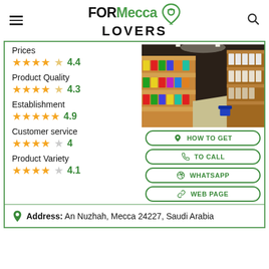FORMecca LOVERS
Prices: 4.4 stars (4.4)
Product Quality: 4.3 stars (4.3)
Establishment: 4.9 stars (4.9)
Customer service: 4 stars (4)
Product Variety: 4.1 stars (4.1)
[Figure (photo): Interior of a supermarket aisle showing shelves stocked with products]
HOW TO GET
TO CALL
WHATSAPP
WEB PAGE
Address: An Nuzhah, Mecca 24227, Saudi Arabia